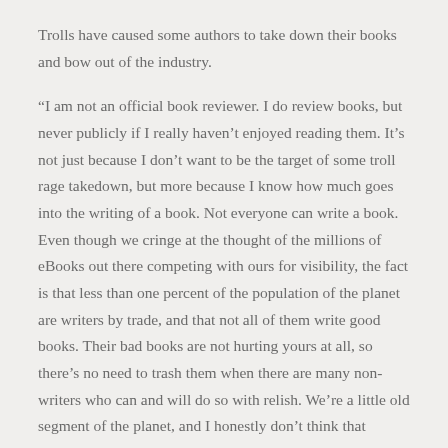Trolls have caused some authors to take down their books and bow out of the industry.
“I am not an official book reviewer. I do review books, but never publicly if I really haven’t enjoyed reading them. It’s not just because I don’t want to be the target of some troll rage takedown, but more because I know how much goes into the writing of a book. Not everyone can write a book. Even though we cringe at the thought of the millions of eBooks out there competing with ours for visibility, the fact is that less than one percent of the population of the planet are writers by trade, and that not all of them write good books. Their bad books are not hurting yours at all, so there’s no need to trash them when there are many non-writers who can and will do so with relish. We’re a little old segment of the planet, and I honestly don’t think that tearing each other down is the way